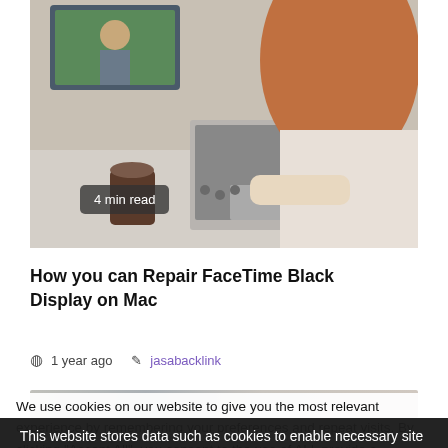[Figure (photo): Woman with red hair sitting at a desk using a Mac laptop and keyboard, seen from behind/side; a monitor displaying a video call is visible; coffee cup on desk. Badge overlay reads '4 min read'.]
How you can Repair FaceTime Black Display on Mac
1 year ago   jasabacklink
[Figure (photo): Partial view of a second article's thumbnail image, cropped at bottom of visible area.]
We use cookies on our website to give you the most relevant experience by remembering your preferences and repeat visits. By clicking "Accept All", you consent to the use of ALL provide a controlled consent.
This website stores data such as cookies to enable necessary site functionality, including analytics, targeting, and personalization. By remaining on this website you indicate your consent Cookie Policy